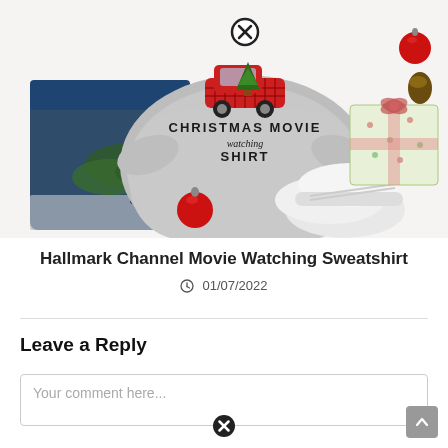[Figure (photo): Flat-lay product photo of a grey Christmas Movie Watching Shirt sweatshirt with a red plaid truck graphic, surrounded by jeans, white sneakers, pine branches, red ornaments and a gift box on a white background. Has a circular close/X button overlay.]
Hallmark Channel Movie Watching Sweatshirt
01/07/2022
Leave a Reply
Your comment here...